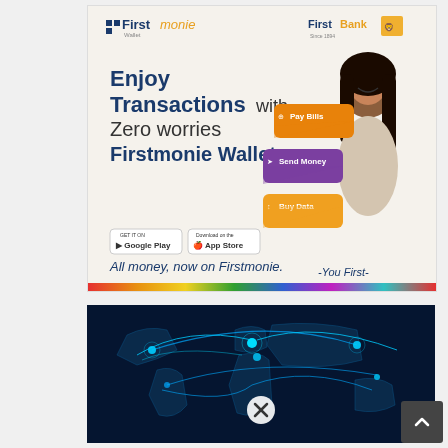[Figure (illustration): Firstmonie Wallet advertisement banner by FirstBank. Light beige background with a smiling Black woman holding a smartphone on the right. Left side shows bold text: 'Enjoy Transactions with Zero worries on Firstmonie Wallet'. Center shows three floating UI buttons: orange 'Pay Bills', purple 'Send Money', orange 'Buy Data'. Bottom left shows Google Play and App Store download badges. Bottom text reads 'All money, now on Firstmonie.' and '-You First-'. Top left: Firstmonie Wallet logo. Top right: FirstBank logo.]
[Figure (illustration): Digital world map with glowing blue network connection lines arching across continents, suggesting global connectivity. Dark blue background. A white circle with an X close button overlay in the center.]